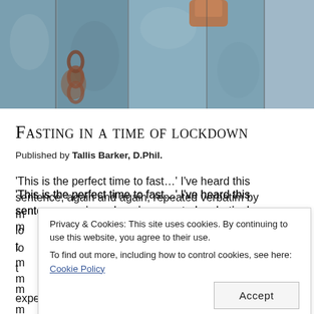[Figure (photo): Close-up photograph of a rusty padlock and chain on weathered blue metal doors or gates]
Fasting in a time of lockdown
Published by Tallis Barker, D.Phil.
'This is the perfect time to fast...' I've heard this sentence, again and again, repeated verbatim by many people who are encouraging others in a time of lockdown to take up extended fasting, most notably multi-day experience of water fasting. In many ways it's true:
Privacy & Cookies: This site uses cookies. By continuing to use this website, you agree to their use. To find out more, including how to control cookies, see here: Cookie Policy